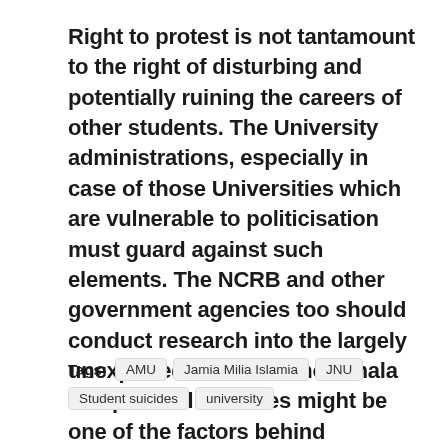Right to protest is not tantamount to the right of disturbing and potentially ruining the careers of other students. The University administrations, especially in case of those Universities which are vulnerable to politicisation must guard against such elements. The NCRB and other government agencies too should conduct research into the largely unexplored domain of how mala fide political activities might be one of the factors behind increasing student suicides.
Tags: AMU   Jamia Milia Islamia   JNU   Student suicides   university